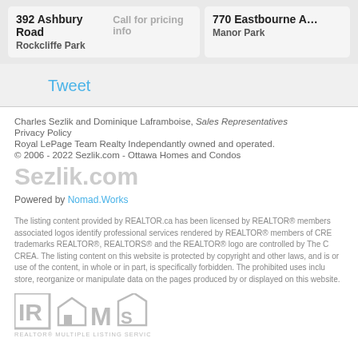392 Ashbury Road | Call for pricing info | Rockcliffe Park
770 Eastbourne A | Manor Park
Tweet
Charles Sezlik and Dominique Laframboise, Sales Representatives
Privacy Policy
Royal LePage Team Realty Independantly owned and operated.
© 2006 - 2022 Sezlik.com - Ottawa Homes and Condos
Sezlik.com
Powered by Nomad.Works
The listing content provided by REALTOR.ca has been licensed by REALTOR® members associated logos identify professional services rendered by REALTOR® members of CRE trademarks REALTOR®, REALTORS® and the REALTOR® logo are controlled by The C CREA. The listing content on this website is protected by copyright and other laws, and is or use of the content, in whole or in part, is specifically forbidden. The prohibited uses inclu store, reorganize or manipulate data on the pages produced by or displayed on this website.
[Figure (logo): REALTOR MLS Multiple Listing Service logo in grey]